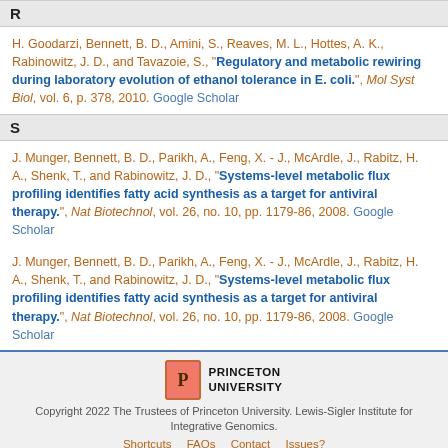R
H. Goodarzi, Bennett, B. D., Amini, S., Reaves, M. L., Hottes, A. K., Rabinowitz, J. D., and Tavazoie, S., "Regulatory and metabolic rewiring during laboratory evolution of ethanol tolerance in E. coli.", Mol Syst Biol, vol. 6, p. 378, 2010. Google Scholar
S
J. Munger, Bennett, B. D., Parikh, A., Feng, X. - J., McArdle, J., Rabitz, H. A., Shenk, T., and Rabinowitz, J. D., "Systems-level metabolic flux profiling identifies fatty acid synthesis as a target for antiviral therapy.", Nat Biotechnol, vol. 26, no. 10, pp. 1179-86, 2008. Google Scholar
J. Munger, Bennett, B. D., Parikh, A., Feng, X. - J., McArdle, J., Rabitz, H. A., Shenk, T., and Rabinowitz, J. D., "Systems-level metabolic flux profiling identifies fatty acid synthesis as a target for antiviral therapy.", Nat Biotechnol, vol. 26, no. 10, pp. 1179-86, 2008. Google Scholar
Copyright 2022 The Trustees of Princeton University. Lewis-Sigler Institute for Integrative Genomics. Shortcuts FAQs Contact Issues?